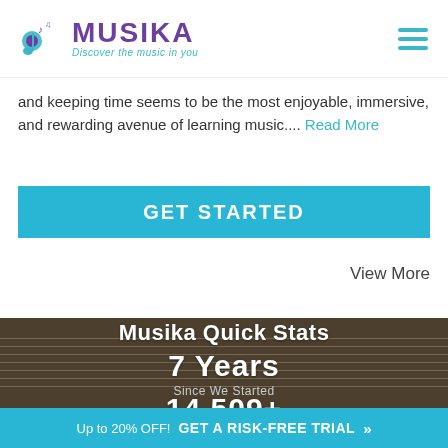MUSIKA — Discover the music in you
and keeping time seems to be the most enjoyable, immersive, and rewarding avenue of learning music.... Read More
GET STARTED
View More
Musika Quick Stats
7 Years
Since We Started
14,509+
Up to 20% OFF! GET A RISK-FREE TRIAL »